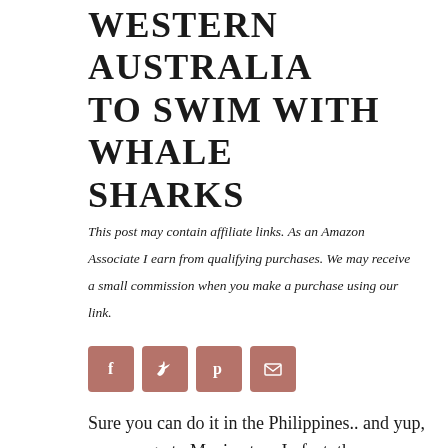WESTERN AUSTRALIA TO SWIM WITH WHALE SHARKS
This post may contain affiliate links. As an Amazon Associate I earn from qualifying purchases. We may receive a small commission when you make a purchase using our link.
[Figure (infographic): Four social sharing buttons: Facebook (f icon), Twitter (bird icon), Pinterest (p icon), Email (envelope icon), all in brownish-rose color]
Sure you can do it in the Philippines.. and yup, you can go to Mexico too. In fact, there are a number of places around the globe where you can road